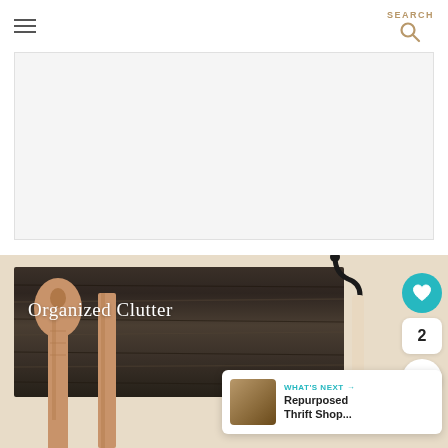SEARCH
[Figure (photo): Advertisement placeholder area with light gray background]
[Figure (photo): Photo of wooden kitchen utensils (paddles and a hook with brushes) hanging on a dark rustic wood board mounted on a cream wall. White text overlay reads 'Organized Clutter'. Social interaction buttons (heart/like, share count '2', share icon) on the right. 'WHAT'S NEXT' card at bottom right showing 'Repurposed Thrift Shop...']